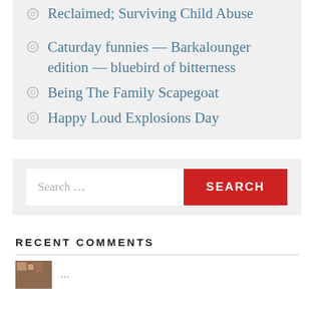Reclaimed; Surviving Child Abuse
Caturday funnies — Barkalounger edition — bluebird of bitterness
Being The Family Scapegoat
Happy Loud Explosions Day
Search ...
RECENT COMMENTS